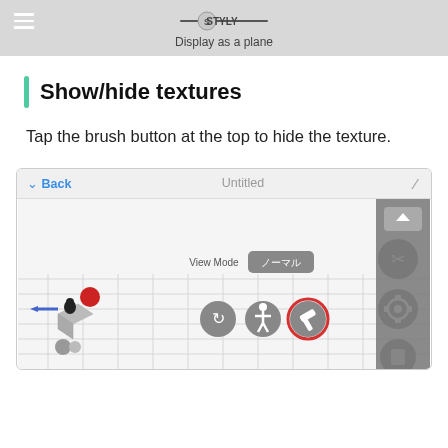STYLY — Display as a plane
Show/hide textures
Tap the brush button at the top to hide the texture.
[Figure (screenshot): STYLY app screenshot showing the 3D editor interface with View Mode set to ノーマル, and several toolbar buttons visible. The brush/paint button is highlighted with a red circle.]